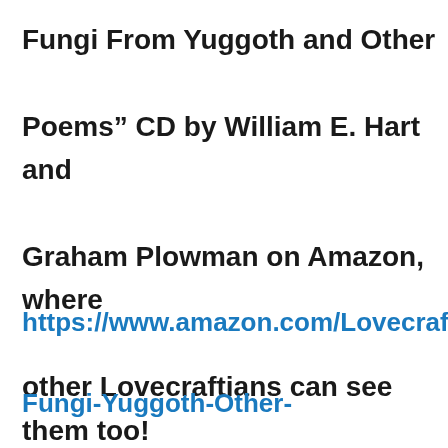Fungi From Yuggoth and Other Poems” CD by William E. Hart and Graham Plowman on Amazon, where other Lovecraftians can see them too!
https://www.amazon.com/Lovecrafts-Fungi-Yuggoth-Other-Poems/dp/1878252801